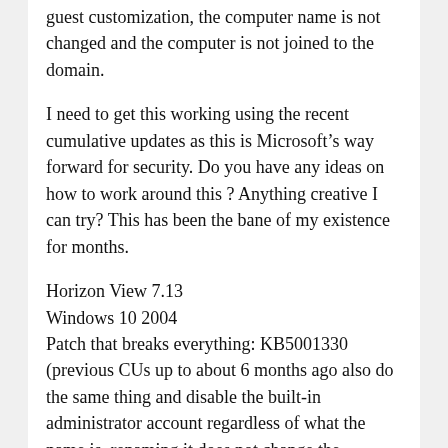guest customization, the computer name is not changed and the computer is not joined to the domain.
I need to get this working using the recent cumulative updates as this is Microsoft’s way forward for security. Do you have any ideas on how to work around this ? Anything creative I can try? This has been the bane of my existence for months.
Horizon View 7.13
Windows 10 2004
Patch that breaks everything: KB5001330 (previous CUs up to about 6 months ago also do the same thing and disable the built-in administrator account regardless of what the name is, renaming it does not change the behavior. It still gets disabled, likely a registry setting disabling the built-in admin)
UAC is disabled in registry
I would SINCERELY appreciate any tips you might